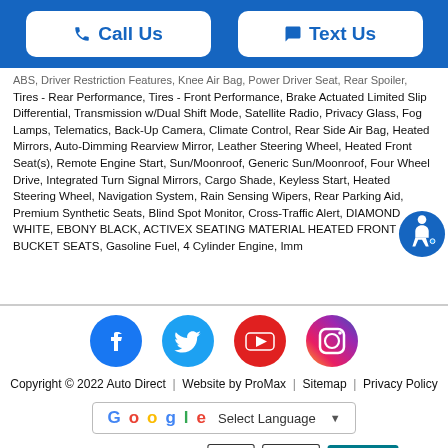Call Us | Text Us
ABS, Driver Restriction Features, Knee Air Bag, Power Driver Seat, Rear Spoiler, Tires - Rear Performance, Tires - Front Performance, Brake Actuated Limited Slip Differential, Transmission w/Dual Shift Mode, Satellite Radio, Privacy Glass, Fog Lamps, Telematics, Back-Up Camera, Climate Control, Rear Side Air Bag, Heated Mirrors, Auto-Dimming Rearview Mirror, Leather Steering Wheel, Heated Front Seat(s), Remote Engine Start, Sun/Moonroof, Generic Sun/Moonroof, Four Wheel Drive, Integrated Turn Signal Mirrors, Cargo Shade, Keyless Start, Heated Steering Wheel, Navigation System, Rain Sensing Wipers, Rear Parking Aid, Premium Synthetic Seats, Blind Spot Monitor, Cross-Traffic Alert, DIAMOND WHITE, EBONY BLACK, ACTIVEX SEATING MATERIAL HEATED FRONT BUCKET SEATS, Gasoline Fuel, 4 Cylinder Engine, Imm...
[Figure (logo): Social media icons: Facebook, Twitter, YouTube, Instagram]
Copyright © 2022 Auto Direct | Website by ProMax | Sitemap | Privacy Policy
[Figure (other): Google Translate widget with Select Language dropdown]
[Figure (logo): Association logos: CIADA, NIADA, RU Official NC Inspection Station, iGONC, BBB Accredited Business]